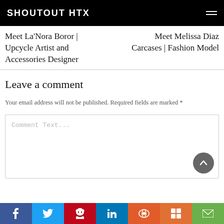SHOUTOUT HTX
Meet La'Nora Boror | Upcycle Artist and Accessories Designer
Meet Melissa Diaz Carcases | Fashion Model
Leave a comment
Your email address will not be published. Required fields are marked *
Comment Text...